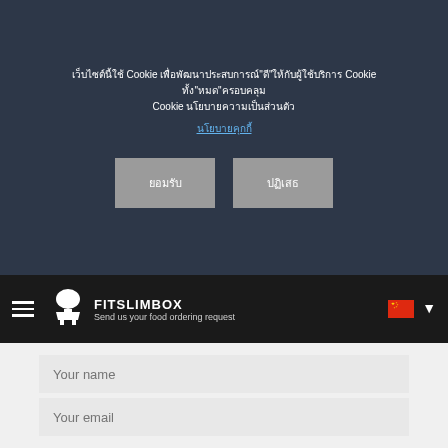เว็บไซต์นี้ใช้ Cookie เพื่อพัฒนาประสบการณ์ "ดี" ให้กับผู้ใช้บริการ Cookie ทั้ง"หมด"ครอบคลุม Cookie นโยบายความเป็นส่วนตัว
นโยบายคุกกี้
ยอมรับ
ปฏิเสธ
FITSLIMBOX Send us your food ordering request
Your name
Your email